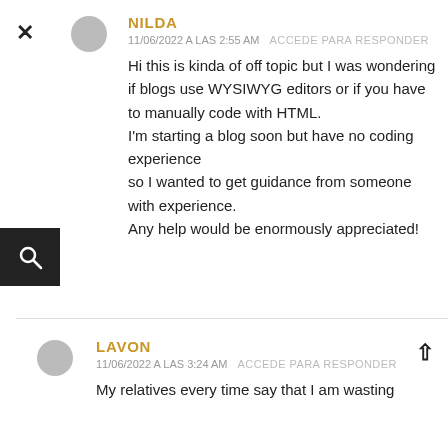×
[Figure (illustration): Gray avatar icon (partial circle/person silhouette)]
NILDA
11/06/2022 A LAS 2:55 AM   ACCEDE PARA RESPONDER
Hi this is kinda of off topic but I was wondering if blogs use WYSIWYG editors or if you have to manually code with HTML.
I'm starting a blog soon but have no coding experience
so I wanted to get guidance from someone with experience.
Any help would be enormously appreciated!
[Figure (illustration): Search icon on dark background]
[Figure (illustration): Gray avatar icon (partial circle/person silhouette)]
LAVON
11/06/2022 A LAS 3:24 AM   ACCEDE PARA RESPONDER
My relatives every time say that I am wasting